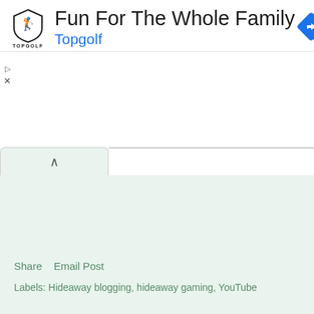[Figure (logo): Topgolf shield logo with bird/golfer icon and TOPGOLF text label below]
Fun For The Whole Family
Topgolf
[Figure (other): Blue diamond navigation/directions icon with right-turn arrow]
[Figure (screenshot): Light green content area with a collapsed tab at top-left showing an up-arrow]
Share   Email Post
Labels: Hideaway blogging, hideaway gaming, YouTube